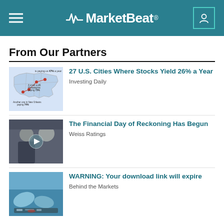MarketBeat
From Our Partners
27 U.S. Cities Where Stocks Yield 26% a Year
Investing Daily
[Figure (illustration): Map of the United States with city markers and annotation text about high-yield stocks]
The Financial Day of Reckoning Has Begun
Weiss Ratings
[Figure (photo): Two men in a room, video thumbnail with play button overlay]
WARNING: Your download link will expire
Behind the Markets
[Figure (photo): Medical scene with blue surgical gloves and instruments]